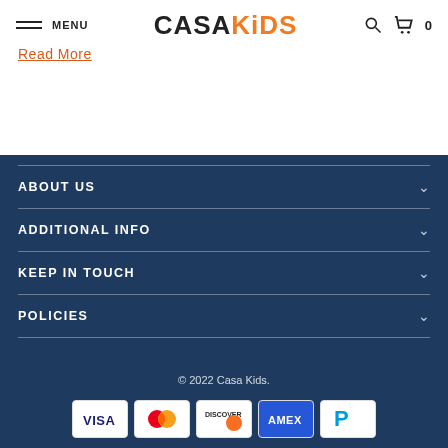MENU | CASA KIDS | 0
Read More
ABOUT US
ADDITIONAL INFO
KEEP IN TOUCH
POLICIES
© 2022 Casa Kids.
[Figure (other): Payment method icons: VISA, Mastercard, Discover, AMEX, PayPal]